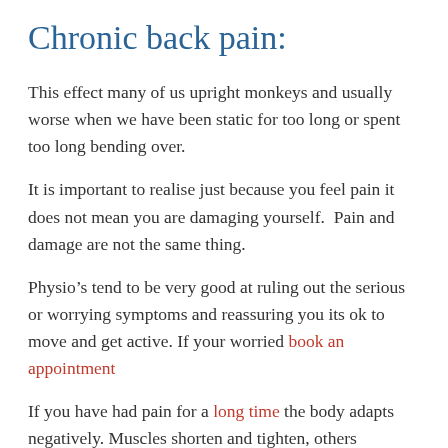Chronic back pain:
This effect many of us upright monkeys and usually worse when we have been static for too long or spent too long bending over.
It is important to realise just because you feel pain it does not mean you are damaging yourself. Pain and damage are not the same thing.
Physio’s tend to be very good at ruling out the serious or worrying symptoms and reassuring you its ok to move and get active. If your worried book an appointment
If you have had pain for a long time the body adapts negatively. Muscles shorten and tighten, others lengthen and weaken. The ligaments are put under more stress and this changes the forces in the joints and discs.